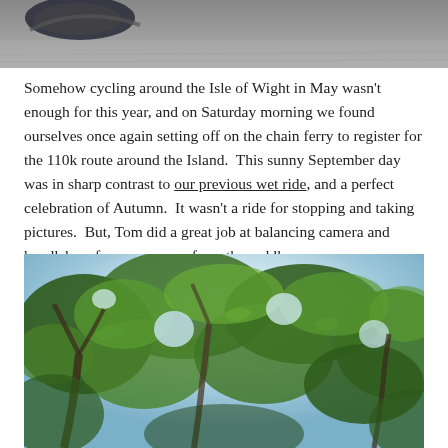[Figure (photo): Top portion of a photograph, showing a blurred grey surface (likely road or pavement) with partial view of a bicycle wheel/logo at top left.]
Somehow cycling around the Isle of Wight in May wasn't enough for this year, and on Saturday morning we found ourselves once again setting off on the chain ferry to register for the 110k route around the Island.  This sunny September day was in sharp contrast to our previous wet ride, and a perfect celebration of Autumn.  It wasn't a ride for stopping and taking pictures.  But, Tom did a great job at balancing camera and handlebars for some snaps from the saddle.
[Figure (photo): Photograph taken from below looking up through a canopy of trees with green leaves and branches against a bright sky, appearing to be taken while cycling (from the saddle).]